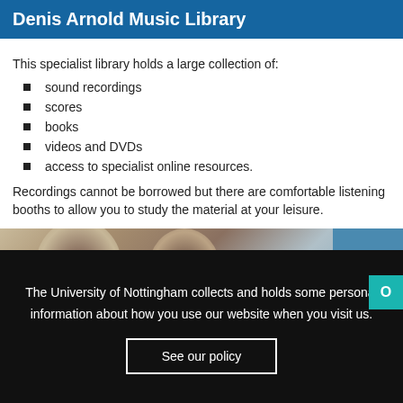Denis Arnold Music Library
This specialist library holds a large collection of:
sound recordings
scores
books
videos and DVDs
access to specialist online resources.
Recordings cannot be borrowed but there are comfortable listening booths to allow you to study the material at your leisure.
[Figure (photo): Photo of two people in a library setting, with a blue background on the right side]
The University of Nottingham collects and holds some personal information about how you use our website when you visit us.
See our policy